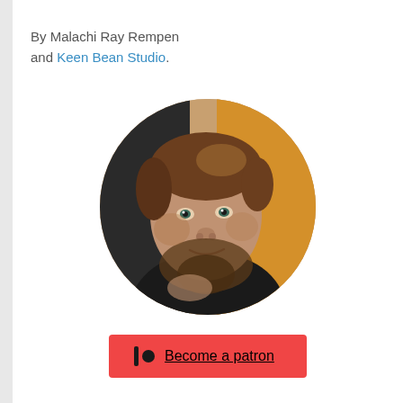By Malachi Ray Rempen and Keen Bean Studio.
[Figure (photo): Circular cropped portrait photo of a man with brown hair and beard, smiling slightly, wearing a dark sweater, seated in what appears to be a restaurant or cafe setting with warm ambient lighting.]
Become a patron